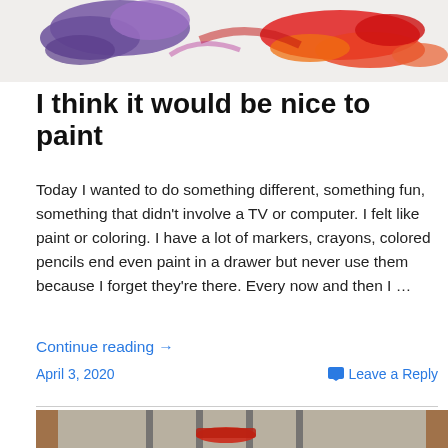[Figure (photo): Photo of paint splashes — purple and red/orange paint smeared on white surface]
I think it would be nice to paint
Today I wanted to do something different, something fun, something that didn't involve a TV or computer. I felt like paint or coloring. I have a lot of markers, crayons, colored pencils end even paint in a drawer but never use them because I forget they're there. Every now and then I …
Continue reading →
April 3, 2020
Leave a Reply
[Figure (photo): Photo looking through a wooden door frame with metal bars at what appears to be a paint tray on an outdoor surface]